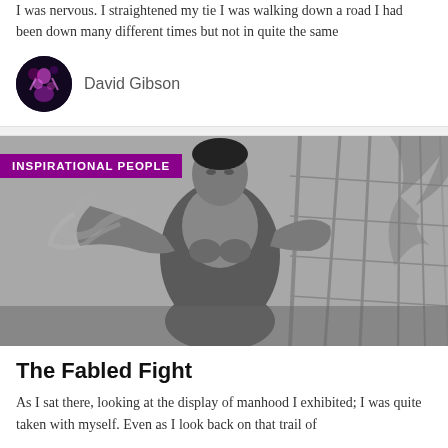I was nervous. I straightened my tie I was walking down a road I had been down many different times but not in quite the same
David Gibson
[Figure (photo): Black and white photo of a martial artist (Bruce Lee style) in a fighting stance, with a purple banner overlay reading INSPIRATIONAL PEOPLE]
The Fabled Fight
As I sat there, looking at the display of manhood I exhibited; I was quite taken with myself. Even as I look back on that trail of
David Gi...